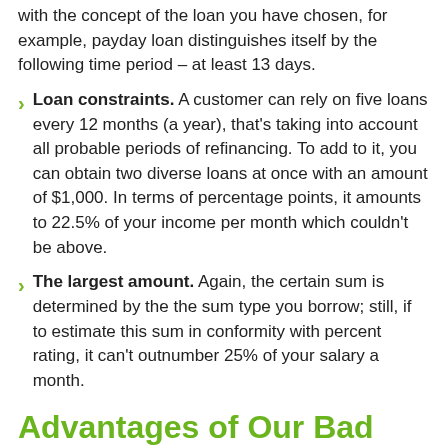with the concept of the loan you have chosen, for example, payday loan distinguishes itself by the following time period – at least 13 days.
Loan constraints. A customer can rely on five loans every 12 months (a year), that's taking into account all probable periods of refinancing. To add to it, you can obtain two diverse loans at once with an amount of $1,000. In terms of percentage points, it amounts to 22.5% of your income per month which couldn't be above.
The largest amount. Again, the certain sum is determined by the the sum type you borrow; still, if to estimate this sum in conformity with percent rating, it can't outnumber 25% of your salary a month.
Advantages of Our Bad Credit Loans in Ge...